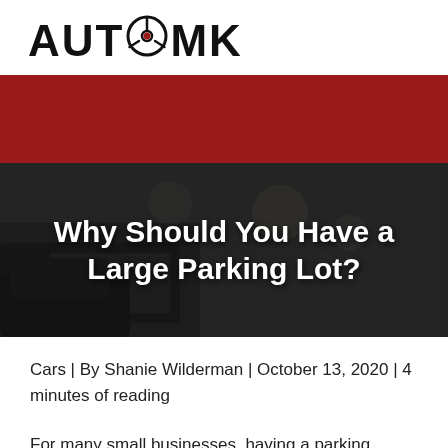AUTOMK
[Figure (photo): Dark red banner bar used as decorative header element]
[Figure (photo): Blurred parking lot interior with cars, dark overlay background for hero image]
Why Should You Have a Large Parking Lot?
Cars | By Shanie Wilderman | October 13, 2020 | 4 minutes of reading
For many small businesses, having a parking space is